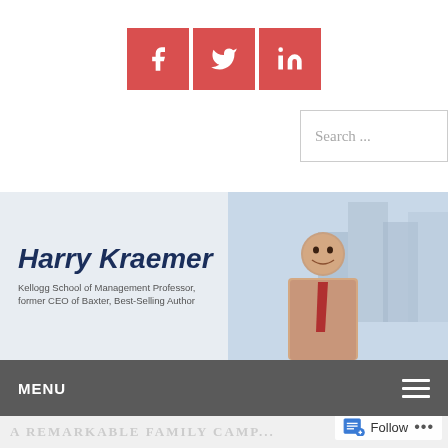[Figure (infographic): Three red square social media icon buttons: Facebook (f), Twitter (bird), LinkedIn (in)]
[Figure (screenshot): Search input field with placeholder text 'Search ...']
[Figure (photo): Banner image with Harry Kraemer name and subtitle on left, photo of smiling man in office on right]
Harry Kraemer
Kellogg School of Management Professor, former CEO of Baxter, Best-Selling Author
MENU
A REMARKABLE FAMILY CAMP...
[Figure (infographic): Follow widget with document icon, Follow text and ellipsis menu]